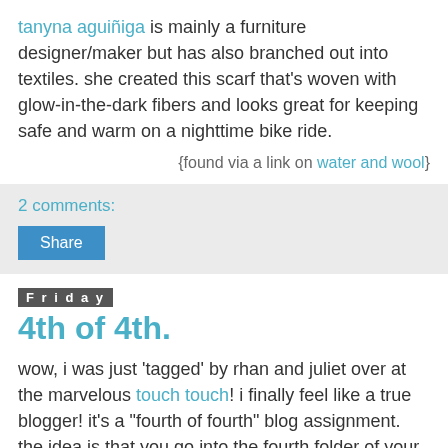tanyna aguiñiga is mainly a furniture designer/maker but has also branched out into textiles. she created this scarf that's woven with glow-in-the-dark fibers and looks great for keeping safe and warm on a nighttime bike ride.
{found via a link on water and wool}
2 comments:
Share
Friday
4th of 4th.
wow, i was just 'tagged' by rhan and juliet over at the marvelous touch touch! i finally feel like a true blogger! it's a "fourth of fourth" blog assignment. the idea is that you go into the fourth folder of your photo files and pick the fourth photo from that folder.
so i am going to the the that you put the fourth folder...